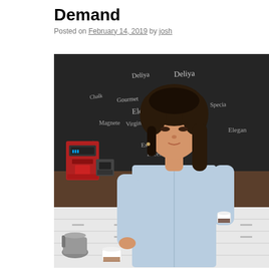Demand
Posted on February 14, 2019 by josh
[Figure (photo): A woman with curly dark hair wearing a light blue denim shirt stands behind a counter in a coffee tasting room. She is holding a small espresso cup and appears to be smelling or tasting coffee. In the background is a large blackboard with words written in chalk (such as 'Deliya', 'Elegant', 'Excelente', etc.), as well as a red espresso machine and various coffee equipment. White cups and a metal kettle are on the counter in front of her.]